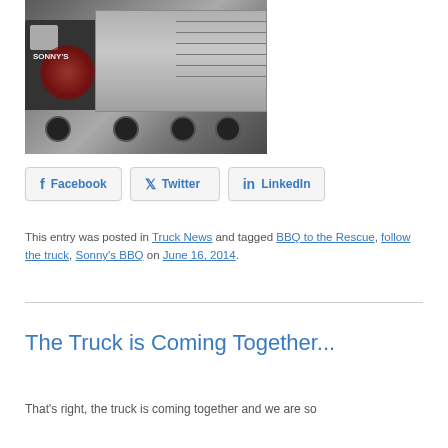[Figure (photo): A BBQ food truck with Sonny's branding and flame graphics on the side, showing the truck cab and open service panels in a parking lot.]
Facebook  Twitter  LinkedIn
This entry was posted in Truck News and tagged BBQ to the Rescue, follow the truck, Sonny's BBQ on June 16, 2014.
The Truck is Coming Together...
That's right, the truck is coming together and we are so